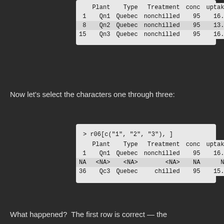|  | Plant | Type | Treatment | conc | uptake |
| --- | --- | --- | --- | --- | --- |
| 1 | Qn1 | Quebec | nonchilled | 95 | 16.0 |
| 8 | Qn2 | Quebec | nonchilled | 95 | 13.6 |
| 15 | Qn3 | Quebec | nonchilled | 95 | 16.2 |
Now let's select the characters one through three:
|  | Plant | Type | Treatment | conc | uptake |
| --- | --- | --- | --- | --- | --- |
| 1 | Qn1 | Quebec | nonchilled | 95 | 16.0 |
| NA | <NA> | <NA> | <NA> | NA | NA |
| 36 | Qc3 | Quebec | chilled | 95 | 15.1 |
What happened?  The first row is correct — the